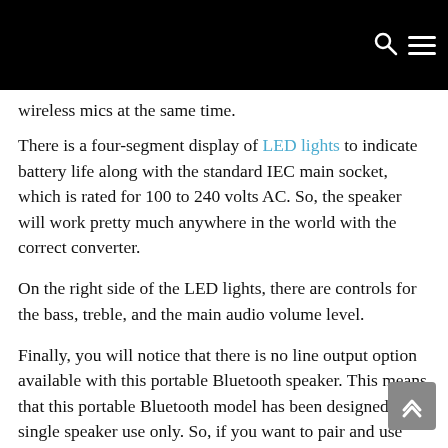[Navigation bar with search and menu icons]
wireless mics at the same time.
There is a four-segment display of LED lights to indicate battery life along with the standard IEC main socket, which is rated for 100 to 240 volts AC. So, the speaker will work pretty much anywhere in the world with the correct converter.
On the right side of the LED lights, there are controls for the bass, treble, and the main audio volume level.
Finally, you will notice that there is no line output option available with this portable Bluetooth speaker. This means that this portable Bluetooth model has been designed for single speaker use only. So, if you want to pair and use two of these Bluetooth speakers at the same time, you would have to figure out how to get a signal to each of them independently.